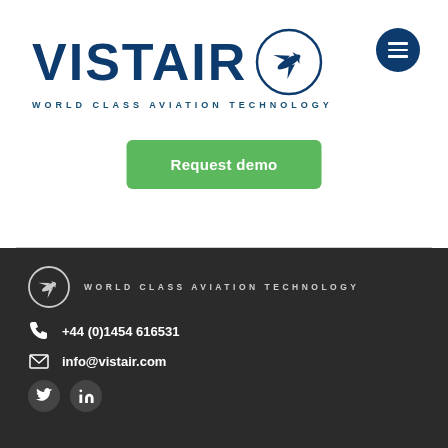[Figure (logo): Vistair logo with airplane icon in circle and tagline WORLD CLASS AVIATION TECHNOLOGY]
[Figure (other): Hamburger menu button (three horizontal lines) in dark blue circle]
Request demo
WORLD CLASS AVIATION TECHNOLOGY | +44 (0)1454 616531 | info@vistair.com | Twitter and LinkedIn social icons